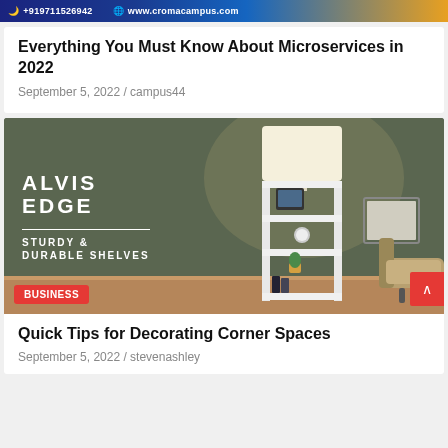+919711526942   www.cromacampus.com
Everything You Must Know About Microservices in 2022
September 5, 2022 / campus44
[Figure (photo): Alvis Edge shelving unit with lamp advertisement. Dark olive green background with white shelf tower lamp containing multiple shelves holding a tablet, clock, plant, and books. Text reads: ALVIS EDGE - STURDY & DURABLE SHELVES. A Business tag label is shown at bottom left.]
Quick Tips for Decorating Corner Spaces
September 5, 2022 / stevenashley